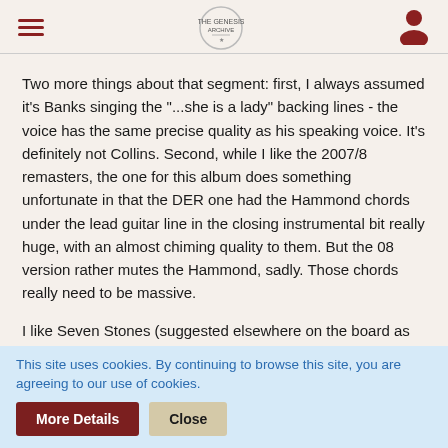[hamburger menu] [logo] [user icon]
Two more things about that segment: first, I always assumed it's Banks singing the "...she is a lady" backing lines - the voice has the same precise quality as his speaking voice. It's definitely not Collins. Second, while I like the 2007/8 remasters, the one for this album does something unfortunate in that the DER one had the Hammond chords under the lead guitar line in the closing instrumental bit really huge, with an almost chiming quality to them. But the 08 version rather mutes the Hammond, sadly. Those chords really need to be massive.
I like Seven Stones (suggested elsewhere on the board as being mainly a Banks song?) with its pleasingly doomy atmosphere, and the delicate Harlequin, and have a soft spot for Absent Friends. The remaining two tracks, Hogweed and Harold, don't do much for me. By
This site uses cookies. By continuing to browse this site, you are agreeing to our use of cookies.